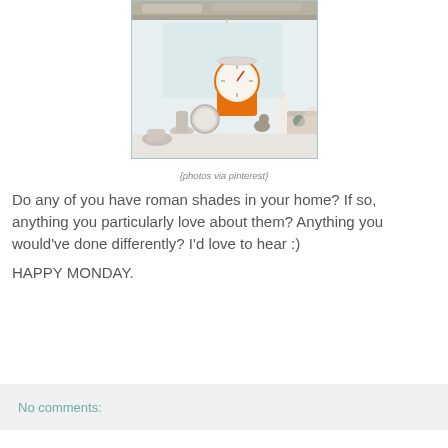[Figure (photo): Photo of a kitchen counter or shelf with various items including an orange kitchen scale with a clock-like dial, small figurines, a round mirror, a white bottle, a woven basket with items, and wooden beams visible at the top. Light and airy atmosphere.]
{photos via pinterest}
Do any of you have roman shades in your home? If so, anything you particularly love about them? Anything you would've done differently? I'd love to hear :)
HAPPY MONDAY.
No comments: